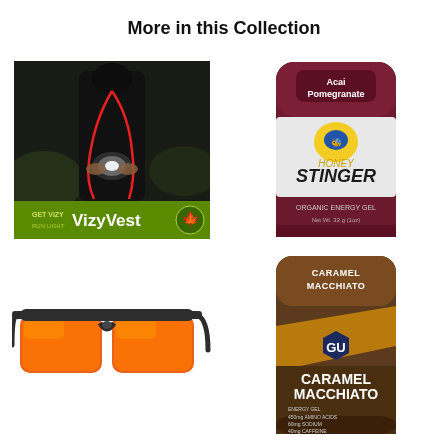More in this Collection
[Figure (photo): VizyVest product image: person in black athletic wear holding a light device with red cord running up the front. Green banner at bottom reads 'GETViZY VizyVest' with a maple leaf logo.]
[Figure (photo): Honey Stinger Organic Energy Gel packet in dark maroon/burgundy color with honeycomb pattern. Flavor: Acai Pomegranate. Net Wt. 32g (1oz).]
[Figure (photo): Dark grey/black sport sunglasses with orange/red mirrored lenses, flat shield-style front.]
[Figure (photo): GU Energy Gel packet in brown/gold color. Flavor: Caramel Macchiato. Contains 450mg Amino Acids, 60mg Sodium, 40mg Caffeine.]